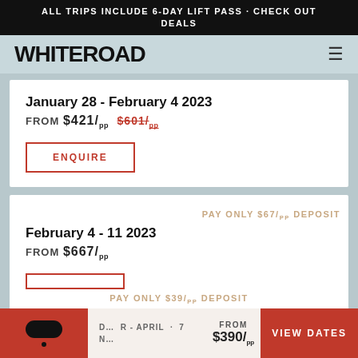ALL TRIPS INCLUDE 6-DAY LIFT PASS · CHECK OUT DEALS
WHITEROAD
January 28 - February 4 2023
FROM $421/pp  $601/pp
ENQUIRE
PAY ONLY $67/pp DEPOSIT
February 4 - 11 2023
FROM $667/pp
PAY ONLY $39/pp DEPOSIT
DECEMBER - APRIL · 7
FROM $390/pp
VIEW DATES